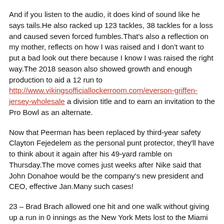And if you listen to the audio, it does kind of sound like he says tails.He also racked up 123 tackles, 38 tackles for a loss and caused seven forced fumbles.That's also a reflection on my mother, reflects on how I was raised and I don't want to put a bad look out there because I know I was raised the right way.The 2018 season also showed growth and enough production to aid a 12 run to http://www.vikingsofficiallockerroom.com/everson-griffen-jersey-wholesale a division title and to earn an invitation to the Pro Bowl as an alternate.
Now that Peerman has been replaced by third-year safety Clayton Fejedelem as the personal punt protector, they'll have to think about it again after his 49-yard ramble on Thursday.The move comes just weeks after Nike said that John Donahoe would be the company's new president and CEO, effective Jan.Many such cases!
23 – Brad Brach allowed one hit and one walk without giving up a run in 0 innings as the New York Mets lost to the Miami Marlins 8 on Monday.I very much look forward to taking on this extremely important challenge, not only because I have always been interested in analysing football from a broader perspective but also because FIFA's mission as world football's governing body is truly global, the Frenchman said in a statement.For the Braves to prove they're committed to winning, they need to spend spend spend, and bringing back Josh Donaldson should be Priority 1A this offseason.He was